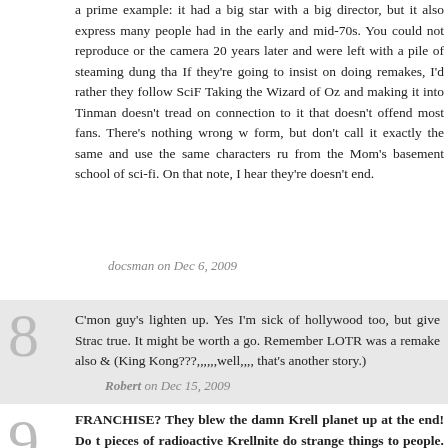a prime example: it had a big star with a big director, but it also express many people had in the early and mid-70s. You could not reproduce or the camera 20 years later and were left with a pile of steaming dung tha If they're going to insist on doing remakes, I'd rather they follow SciF Taking the Wizard of Oz and making it into Tinman doesn't tread on connection to it that doesn't offend most fans. There's nothing wrong w form, but don't call it exactly the same and use the same characters ru from the Mom's basement school of sci-fi. On that note, I hear they're doesn't end.
docsman on Dec 6, 2009
C'mon guy's lighten up. Yes I'm sick of hollywood too, but give Strac true. It might be worth a go. Remember LOTR was a remake also & (King Kong???,,,,,,well,,,, that's another story.)
Robert on Dec 15, 2009
FRANCHISE? They blew the damn Krell planet up at the end! Do t pieces of radioactive Krellnite do strange things to people. Lets reb Dune for the THIRD time!!!! Lets get some fresh blood in there (Ar The Krell had visited many planets in their travels. Whose to say th world... and that some remnants of the Krell civilization survived the Ab
Roger McMillian on Dec 27, 2009